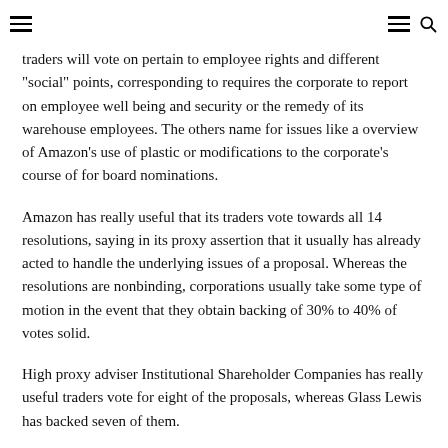[hamburger menu icon] [hamburger menu icon] [search icon]
traders will vote on pertain to employee rights and different "social" points, corresponding to requires the corporate to report on employee well being and security or the remedy of its warehouse employees. The others name for issues like a overview of Amazon’s use of plastic or modifications to the corporate’s course of for board nominations.
Amazon has really useful that its traders vote towards all 14 resolutions, saying in its proxy assertion that it usually has already acted to handle the underlying issues of a proposal. Whereas the resolutions are nonbinding, corporations usually take some type of motion in the event that they obtain backing of 30% to 40% of votes solid.
High proxy adviser Institutional Shareholder Companies has really useful traders vote for eight of the proposals, whereas Glass Lewis has backed seven of them.